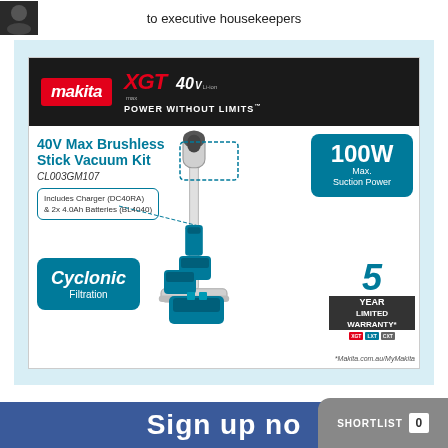to executive housekeepers
[Figure (photo): Makita XGT 40V Max Brushless Stick Vacuum Kit advertisement. Product model CL003GM107. Features: 100W Max Suction Power, Cyclonic Filtration, 5 Year Limited Warranty. Includes Charger (DC40RA) & 2x 4.0Ah Batteries (BL4040). Website: Makita.com.au/MyMakita]
Sign up no